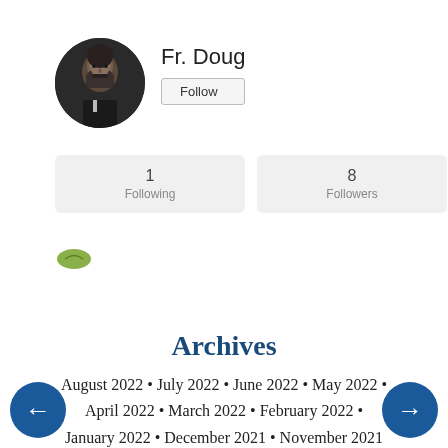[Figure (photo): Profile photo of Fr. Doug, a bearded man in dark clothing]
Fr. Doug
Follow
| 1
Following | 8
Followers |
[Figure (illustration): Small green oval/leaf icon]
Archives
August 2022 • July 2022 • June 2022 • May 2022 • April 2022 • March 2022 • February 2022 • January 2022 • December 2021 • November 2021